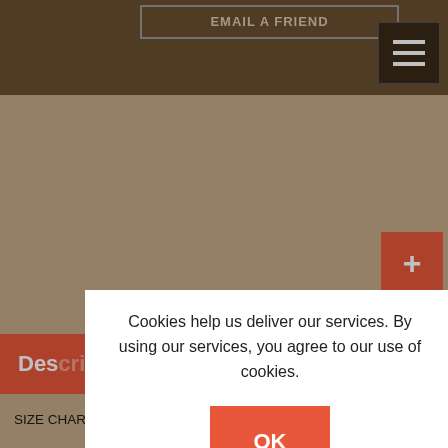EMAIL A FRIEND
[Figure (screenshot): Red plus button with count badge showing 0]
Des[cription]
SIZE CHART
- SIZE [32]: LENGTH - [14.5", SHOULDER - 14", CHEST - 32"], WAIST - [28"], ARMHOLE - [17"], BUST POINT - [9"], SLEEVE LENGTH - 12", SLEEVE ROUND - 9"
- SIZE 34: LENGTH - 14.5", SHOULDER - 14", CHEST - 34", WAIST - 29", ARMHOLE - 17.5", BUST POINT - 9", SLEEVE LENGTH - 12", SLEEVE ROUND - 10"
- SIZE 36: LENGTH - 14.5, SHOULDER - 14.5", CHEST - 36"
Cookies help us deliver our services. By using our services, you agree to our use of cookies.
OK
Learn more